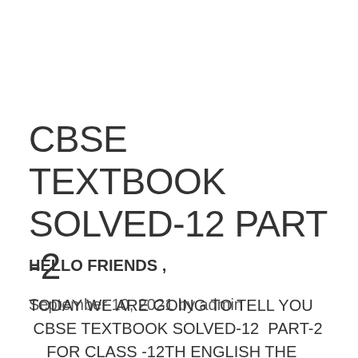CBSE TEXTBOOK SOLVED-12 PART -2
September 10, 2021 by admin
HELLO FRIENDS ,
TODAY WE ARE GOING TO TELL YOU  CBSE TEXTBOOK SOLVED-12  PART-2    FOR CLASS -12TH ENGLISH THE LAST LESSON BY ALPHONSE DAUDET . SO FRIENDS READ AND SHARE IT CBSE TEXTBOOK SOLVED 12